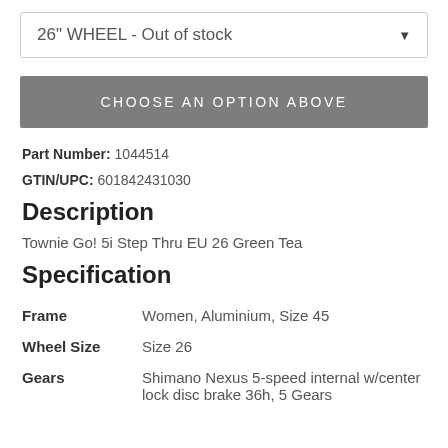26" WHEEL - Out of stock
CHOOSE AN OPTION ABOVE
Part Number: 1044514
GTIN/UPC: 601842431030
Description
Townie Go! 5i Step Thru EU 26 Green Tea
Specification
| Attribute | Value |
| --- | --- |
| Frame | Women, Aluminium, Size 45 |
| Wheel Size | Size 26 |
| Gears | Shimano Nexus 5-speed internal w/center lock disc brake 36h, 5 Gears |